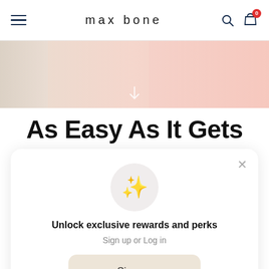max bone
[Figure (photo): Hero image with pink/beige product background and a downward arrow overlay]
As Easy As It Gets
[Figure (illustration): Modal dialog with sparkle icon, 'Unlock exclusive rewards and perks' heading, Sign up or Log in text, Sign up button, and 'Already have an account? Sign in' link]